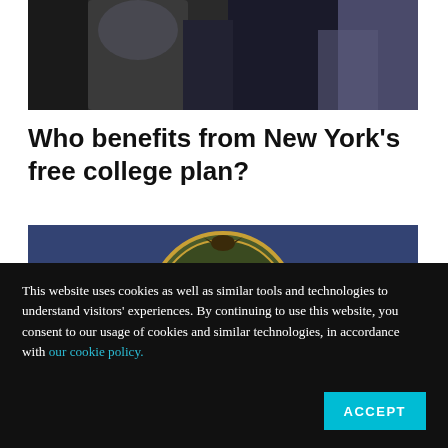[Figure (photo): Partial photo of person(s) at top of page, cropped, dark clothing visible against dark background]
Who benefits from New York's free college plan?
[Figure (photo): Photo of two men smiling in front of a New York State seal/flag backdrop — Bernie Sanders (left, white hair, glasses) and Andrew Cuomo (right, dark suit)]
This website uses cookies as well as similar tools and technologies to understand visitors' experiences. By continuing to use this website, you consent to our usage of cookies and similar technologies, in accordance with our cookie policy.